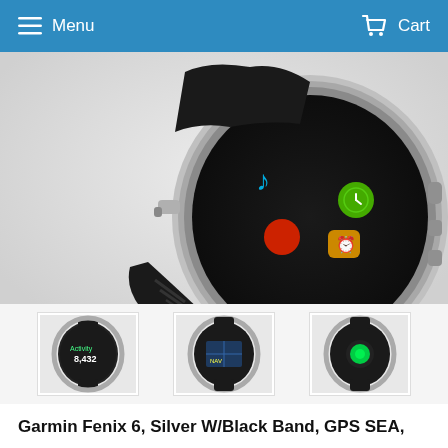Menu    Cart
[Figure (photo): Garmin Fenix 6 smartwatch shown at angle, silver case with black band, screen showing app icons including music note, red circle, yellow clock/alarm, green icon]
[Figure (photo): Thumbnail 1: Garmin Fenix 6 front face showing fitness tracking display]
[Figure (photo): Thumbnail 2: Garmin Fenix 6 showing navigation/map display]
[Figure (photo): Thumbnail 3: Garmin Fenix 6 showing green heart rate sensor on back]
Garmin Fenix 6, Silver W/Black Band, GPS SEA,